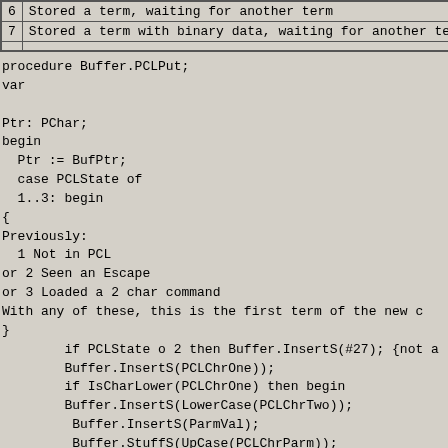|  |  |
| --- | --- |
| 6 | Stored a term, waiting for another term |
| 7 | Stored a term with binary data, waiting for another term |
|  |  |
procedure Buffer.PCLPut;
var

Ptr: PChar;
begin
  Ptr := BufPtr;
  case PCLState of
  1..3: begin
{
Previously:
  1 Not in PCL
or 2 Seen an Escape
or 3 Loaded a 2 char command
With any of these, this is the first term of the new c
}
        if PCLState o 2 then Buffer.InsertS(#27); {not a
        Buffer.InsertS(PCLChrOne));
        if IsCharLower(PCLChrOne) then begin
        Buffer.InsertS(LowerCase(PCLChrTwo));
         Buffer.InsertS(ParmVal);
         Buffer.StuffS(UpCase(PCLChrParm));
         end;
        end;
  4..5: begin
{